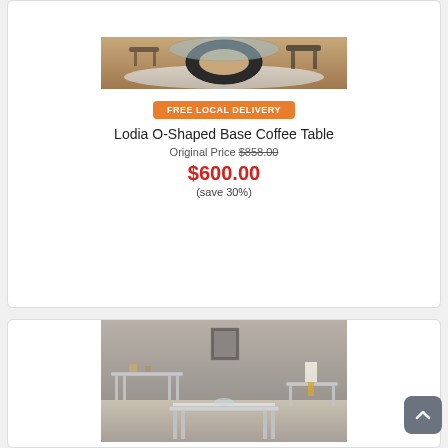[Figure (photo): Photo of Lodia O-Shaped Base Coffee Table — dark oval/ring-shaped base with glass top, on a rug in a living room setting]
FREE LOCAL DELIVERY
Lodia O-Shaped Base Coffee Table
Original Price $858.00
$600.00
(save 30%)
[Figure (photo): Photo of a mirrored/silver glam living room table set with sofa table, end table, and coffee table with chrome legs on hardwood floor]